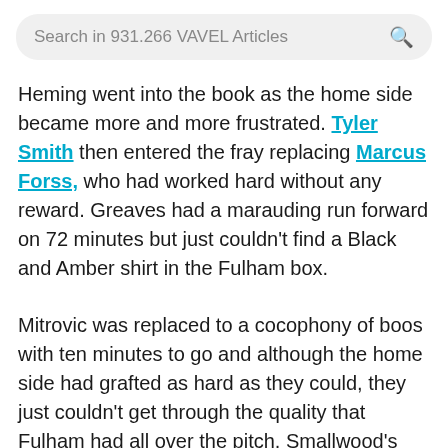Search in 931.266 VAVEL Articles
Heming went into the book as the home side became more and more frustrated. Tyler Smith then entered the fray replacing Marcus Forss, who had worked hard without any reward. Greaves had a marauding run forward on 72 minutes but just couldn't find a Black and Amber shirt in the Fulham box.
Mitrovic was replaced to a cocophony of boos with ten minutes to go and although the home side had grafted as hard as they could, they just couldn't get through the quality that Fulham had all over the pitch. Smallwood's effort did test Rodak on 84 minutes but the away side were